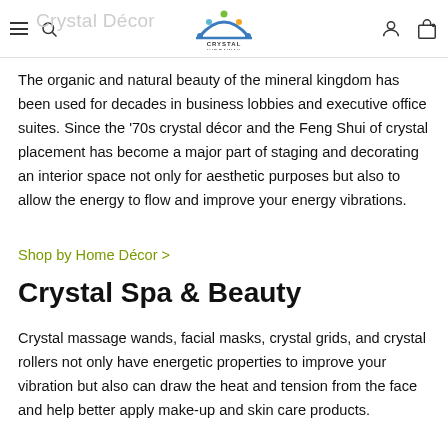Crystal Décor — Crystal Hideaway navigation bar
The organic and natural beauty of the mineral kingdom has been used for decades in business lobbies and executive office suites. Since the '70s crystal décor and the Feng Shui of crystal placement has become a major part of staging and decorating an interior space not only for aesthetic purposes but also to allow the energy to flow and improve your energy vibrations.
Shop by Home Décor >
Crystal Spa & Beauty
Crystal massage wands, facial masks, crystal grids, and crystal rollers not only have energetic properties to improve your vibration but also can draw the heat and tension from the face and help better apply make-up and skin care products.